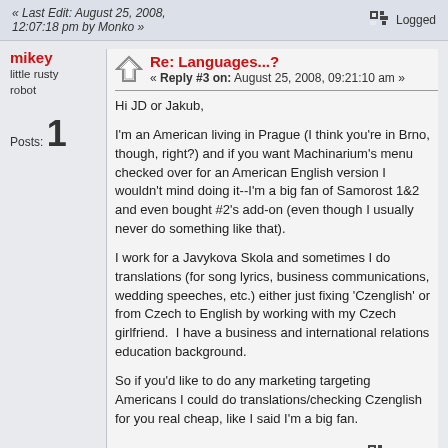« Last Edit: August 25, 2008, 12:07:18 pm by Monko »
Logged
mikey
little rusty robot
Posts: 1
Re: Languages...?
« Reply #3 on: August 25, 2008, 09:21:10 am »
Hi JD or Jakub,

I'm an American living in Prague (I think you're in Brno, though, right?) and if you want Machinarium's menu checked over for an American English version I wouldn't mind doing it--I'm a big fan of Samorost 1&2 and even bought #2's add-on (even though I usually never do something like that).

I work for a Javykova Skola and sometimes I do translations (for song lyrics, business communications, wedding speeches, etc.) either just fixing 'Czenglish' or from Czech to English by working with my Czech girlfriend.  I have a business and international relations education background.

So if you'd like to do any marketing targeting Americans I could do translations/checking Czenglish for you real cheap, like I said I'm a big fan.
Logged